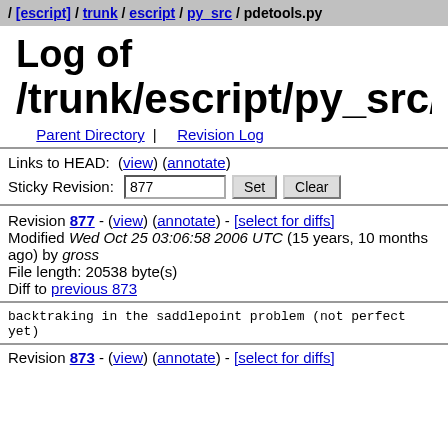/ [escript] / trunk / escript / py_src / pdetools.py
Log of /trunk/escript/py_src/pdetools.py
Parent Directory | Revision Log
Links to HEAD: (view) (annotate)
Sticky Revision: 877  Set  Clear
Revision 877 - (view) (annotate) - [select for diffs]
Modified Wed Oct 25 03:06:58 2006 UTC (15 years, 10 months ago) by gross
File length: 20538 byte(s)
Diff to previous 873
backtraking in the saddlepoint problem (not perfect yet)
Revision 873 - (view) (annotate) - [select for diffs]